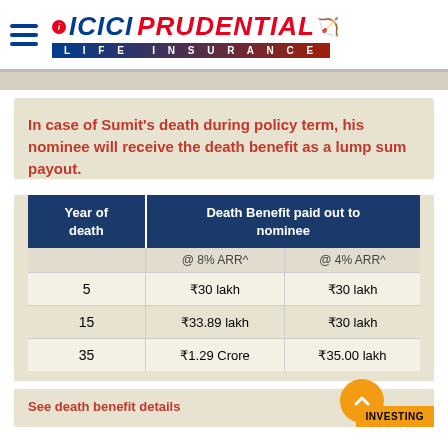ICICI PRUDENTIAL LIFE INSURANCE
In case of Sumit's death during policy term, his nominee will receive the death benefit as a lump sum payout.
| Year of death | Death Benefit paid out to nominee |
| --- | --- |
|  | @ 8% ARR^ | @ 4% ARR^ |
| 5 | ₹30 lakh | ₹30 lakh |
| 15 | ₹33.89 lakh | ₹30 lakh |
| 35 | ₹1.29 Crore | ₹35.00 lakh |
See death benefit details